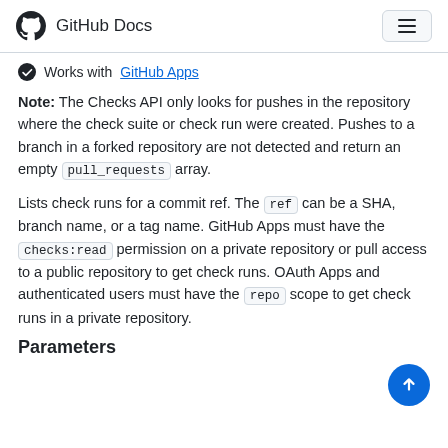GitHub Docs
Works with GitHub Apps
Note: The Checks API only looks for pushes in the repository where the check suite or check run were created. Pushes to a branch in a forked repository are not detected and return an empty pull_requests array.
Lists check runs for a commit ref. The ref can be a SHA, branch name, or a tag name. GitHub Apps must have the checks:read permission on a private repository or pull access to a public repository to get check runs. OAuth Apps and authenticated users must have the repo scope to get check runs in a private repository.
Parameters